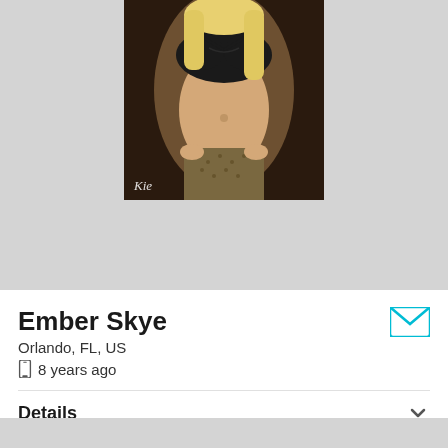[Figure (photo): Profile photo of a person, upper torso, wearing black bra top and patterned mini skirt, blonde hair, dark background, watermark initials in lower left]
Ember Skye
Orlando, FL, US
8 years ago
Details